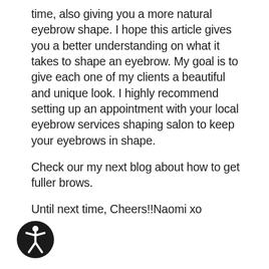time, also giving you a more natural eyebrow shape. I hope this article gives you a better understanding on what it takes to shape an eyebrow. My goal is to give each one of my clients a beautiful and unique look. I highly recommend setting up an appointment with your local eyebrow services shaping salon to keep your eyebrows in shape.
Check our my next blog about how to get fuller brows.
Until next time, Cheers!!Naomi xo
[Figure (illustration): Accessibility icon: a black circle with a white stylized human figure (person with arms and legs outstretched), representing accessibility/wheelchair accessibility symbol.]